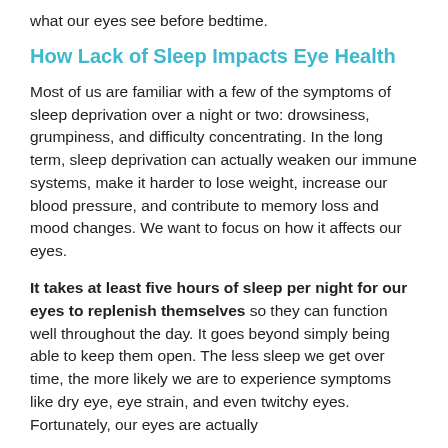what our eyes see before bedtime.
How Lack of Sleep Impacts Eye Health
Most of us are familiar with a few of the symptoms of sleep deprivation over a night or two: drowsiness, grumpiness, and difficulty concentrating. In the long term, sleep deprivation can actually weaken our immune systems, make it harder to lose weight, increase our blood pressure, and contribute to memory loss and mood changes. We want to focus on how it affects our eyes.
It takes at least five hours of sleep per night for our eyes to replenish themselves so they can function well throughout the day. It goes beyond simply being able to keep them open. The less sleep we get over time, the more likely we are to experience symptoms like dry eye, eye strain, and even twitchy eyes. Fortunately, our eyes are actually